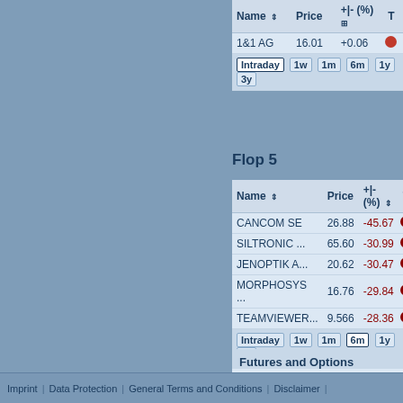| Name ⇕ | Price | +|- (%) ⊞ | T |
| --- | --- | --- | --- |
| 1&1 AG | 16.01 | +0.06 | → |
Flop 5
| Name ⇕ | Price | +|- (%) ⇕ | T |
| --- | --- | --- | --- |
| CANCOM SE | 26.88 | -45.67 |  |
| SILTRONIC ... | 65.60 | -30.99 |  |
| JENOPTIK A... | 20.62 | -30.47 |  |
| MORPHOSYS ... | 16.76 | -29.84 |  |
| TEAMVIEWER... | 9.566 | -28.36 |  |
Futures and Options
Related Futures
Related Options
Imprint | Data Protection | General Terms and Conditions | Disclaimer